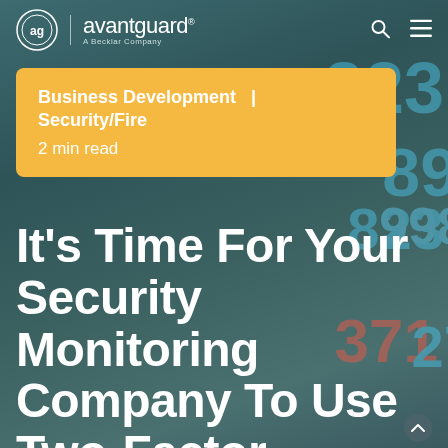avantguard | A Becklar Company
Business Development  |  Security/Fire
2 min read
It's Time For Your Security Monitoring Company To Use Two-Factor Authentication